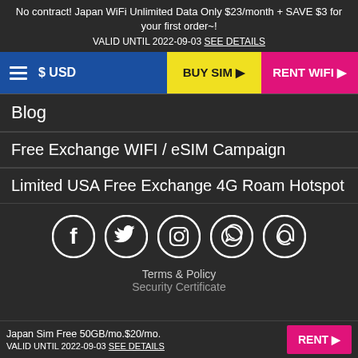No contract! Japan WiFi Unlimited Data Only $23/month + SAVE $3 for your first order~!
VALID UNTIL 2022-09-03 SEE DETAILS
≡ $ USD   BUY SIM ▶   RENT WIFI ▶
Blog
Free Exchange WIFI / eSIM Campaign
Limited USA Free Exchange 4G Roam Hotspot
[Figure (illustration): Row of five social media icons in white circles on dark background: Facebook, Twitter, Instagram, WhatsApp, Email]
Terms & Policy
Security Certificate
Japan Sim Free 50GB/mo.$20/mo.
VALID UNTIL 2022-09-03 SEE DETAILS
RENT ▶